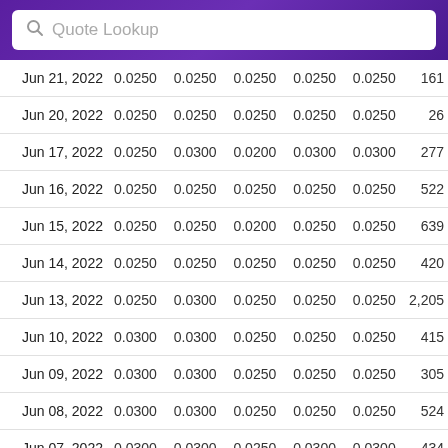| Date | Open | High | Low | Close | Adj Close | Volume |
| --- | --- | --- | --- | --- | --- | --- |
| Jun 21, 2022 | 0.0250 | 0.0250 | 0.0250 | 0.0250 | 0.0250 | 161 |
| Jun 20, 2022 | 0.0250 | 0.0250 | 0.0250 | 0.0250 | 0.0250 | 26 |
| Jun 17, 2022 | 0.0250 | 0.0300 | 0.0200 | 0.0300 | 0.0300 | 277 |
| Jun 16, 2022 | 0.0250 | 0.0250 | 0.0250 | 0.0250 | 0.0250 | 522 |
| Jun 15, 2022 | 0.0250 | 0.0250 | 0.0200 | 0.0250 | 0.0250 | 639 |
| Jun 14, 2022 | 0.0250 | 0.0250 | 0.0250 | 0.0250 | 0.0250 | 420 |
| Jun 13, 2022 | 0.0250 | 0.0300 | 0.0250 | 0.0250 | 0.0250 | 2,205 |
| Jun 10, 2022 | 0.0300 | 0.0300 | 0.0250 | 0.0250 | 0.0250 | 415 |
| Jun 09, 2022 | 0.0300 | 0.0300 | 0.0250 | 0.0250 | 0.0250 | 305 |
| Jun 08, 2022 | 0.0300 | 0.0300 | 0.0250 | 0.0250 | 0.0250 | 524 |
| Jun 07, 2022 | 0.0300 | 0.0300 | 0.0250 | 0.0300 | 0.0300 | 434 |